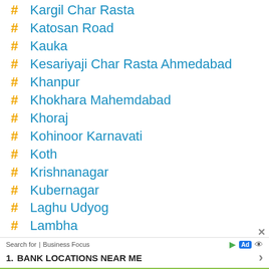# Kargil Char Rasta
# Katosan Road
# Kauka
# Kesariyaji Char Rasta Ahmedabad
# Khanpur
# Khokhara Mahemdabad
# Khoraj
# Kohinoor Karnavati
# Koth
# Krishnanagar
# Kubernagar
# Laghu Udyog
# Lambha
# Maflipur
# Mandal
Search for | Business Focus — Ad — 1. BANK LOCATIONS NEAR ME